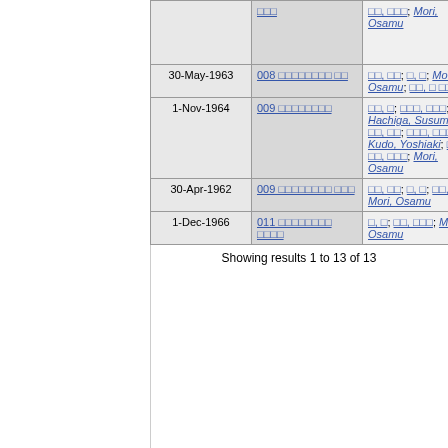| Date | Code | Authors |
| --- | --- | --- |
|  | □□□ | □□, □□□; Mori, Osamu |
| 30-May-1963 | 008 □□□□□□□□ □□ | □□, □□; □, □; Mori, Osamu; □□, □ □□ |
| 1-Nov-1964 | 009 □□□□□□□□ | □□, □; □□□, □□□; Hachiga, Susumu; □□, □□; □□□, □□□□; Kudo, Yoshiaki; □, □; □□, □□□; Mori, Osamu |
| 30-Apr-1962 | 009 □□□□□□□□ □□□ | □□, □□; □, □; □□, □□□; Mori, Osamu |
| 1-Dec-1966 | 011 □□□□□□□□ □□□□ | □, □; □□, □□□; Mori, Osamu |
Showing results 1 to 13 of 13